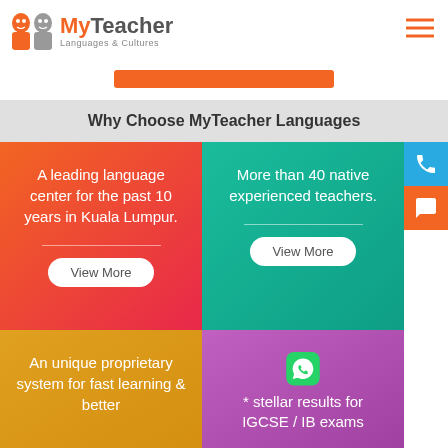[Figure (logo): MyTeacher Languages & Cultures logo with two face silhouettes in orange and grey]
[Figure (other): Orange rectangular button/strip]
Why Choose MyTeacher Languages
A leading language center for the past 10 years in Kuala Lumpur.
More than 40 native experienced teachers.
An unique proprietary system for fast learning & better
* stellar results for IGCSE / IB exams